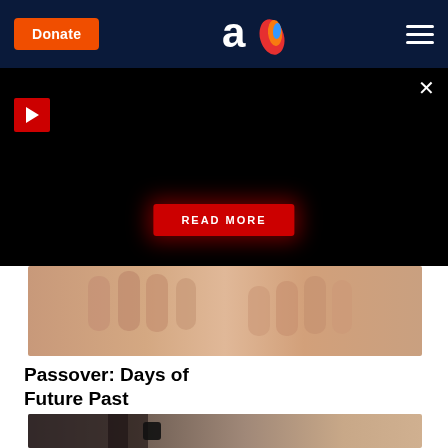Donate | [Aish logo] | [Menu]
[Figure (screenshot): Dark overlay ad banner with red play button top-left, close X top-right, and red READ MORE button in center]
[Figure (photo): Close-up photograph of two hands clasped together]
Passover: Days of Future Past
[Figure (photo): Partial photo showing a person with dark hair raising their arm, wearing a black wristband]